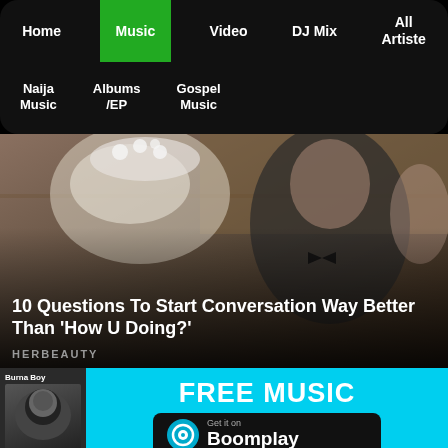Home | Music | Video | DJ Mix | All Artiste | Naija Music | Albums /EP | Gospel Music
[Figure (photo): A bride in white floral headpiece looking down and a groom in black tuxedo with bow tie, sitting at an outdoor venue. Text overlay reads: 10 Questions To Start Conversation Way Better Than 'How U Doing?' — HERBEAUTY]
10 Questions To Start Conversation Way Better Than 'How U Doing?'
HERBEAUTY
[Figure (infographic): Boomplay advertisement banner on cyan background. Shows Burna Boy app screenshot on the left, 'FREE MUSIC' text in white, and 'Get it on Boomplay' button in black with Boomplay logo.]